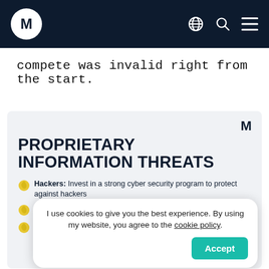M [logo] [globe icon] [search icon] [menu icon]
compete was invalid right from the start.
[Figure (infographic): Proprietary Information Threats infographic with M logo, bold uppercase heading, and bullet list items with yellow leaf icons: Hackers: Invest in a strong cyber security program to protect against hackers; Access: Adjust access to confidential information; Unauthorized Recordings: Safe guards sh[ould be in place]...; [item partially obscured]; Employee Using Proprietary...]
I use cookies to give you the best experience. By using my website, you agree to the cookie policy.